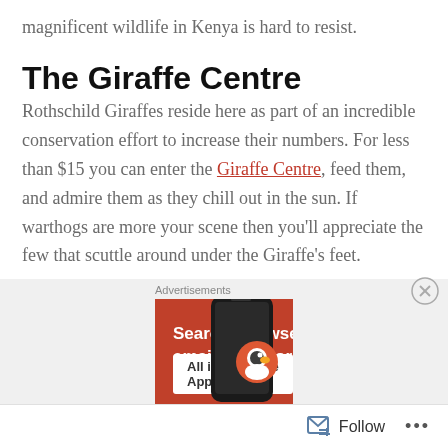magnificent wildlife in Kenya is hard to resist.
The Giraffe Centre
Rothschild Giraffes reside here as part of an incredible conservation effort to increase their numbers. For less than $15 you can enter the Giraffe Centre, feed them, and admire them as they chill out in the sun. If warthogs are more your scene then you'll appreciate the few that scuttle around under the Giraffe's feet.
[Figure (other): Advertisement banner for DuckDuckGo: orange background with white bold text 'Search, browse, and email with more privacy.' with a phone mockup and DuckDuckGo logo. Label reads 'Advertisements'. Button text 'All in One Free App'.]
Follow ...